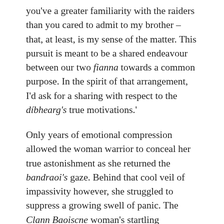you've a greater familiarity with the raiders than you cared to admit to my brother – that, at least, is my sense of the matter. This pursuit is meant to be a shared endeavour between our two fianna towards a common purpose. In the spirit of that arrangement, I'd ask for a sharing with respect to the díbhearg's true motivations.'
Only years of emotional compression allowed the woman warrior to conceal her true astonishment as she returned the bandraoi's gaze. Behind that cool veil of impassivity however, she struggled to suppress a growing swell of panic. The Clann Baoiscne woman's startling perspicacity had caught her completely by surprise and it was an abrupt and frightening revelation of just how dangerous she truly was. Crimall and Tréanmór might possess shrewd instincts that were enhanced by their